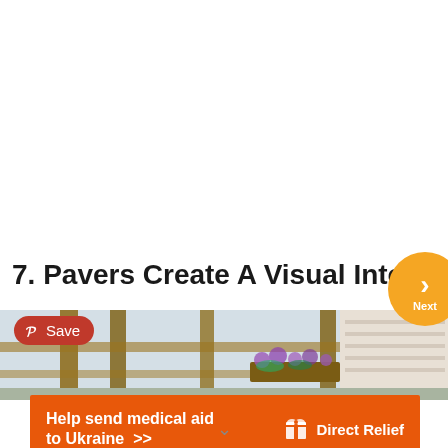7. Pavers Create A Visual Intere
[Figure (photo): Outdoor garden/patio area with wooden fence and flowering plants in a window box, forming a photo strip]
Save
Help send medical aid to Ukraine >>
[Figure (logo): Direct Relief logo — white box/gift icon with 'Direct Relief' text in white]